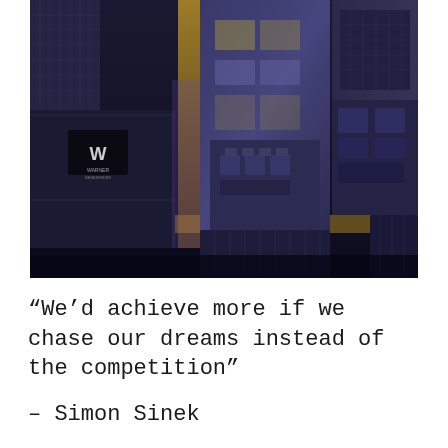[Figure (photo): Aerial night view of a dense urban cityscape, likely Chicago, showing tall skyscraper rooftops lit with yellow street lights between buildings, viewed from directly above. A W Hotel sign is visible on one building. The scene has a blue-purple tint with golden street lighting.]
“We’d achieve more if we chase our dreams instead of the competition”
– Simon Sinek